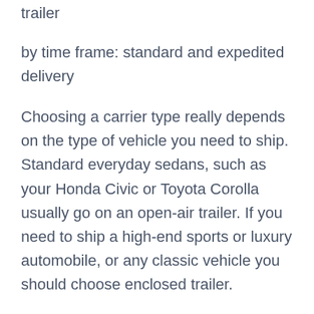trailer
by time frame: standard and expedited delivery
Choosing a carrier type really depends on the type of vehicle you need to ship. Standard everyday sedans, such as your Honda Civic or Toyota Corolla usually go on an open-air trailer. If you need to ship a high-end sports or luxury automobile, or any classic vehicle you should choose enclosed trailer.
Standard car shipping means that a carrier will pick up your vehicle within few days. Delivery, in this